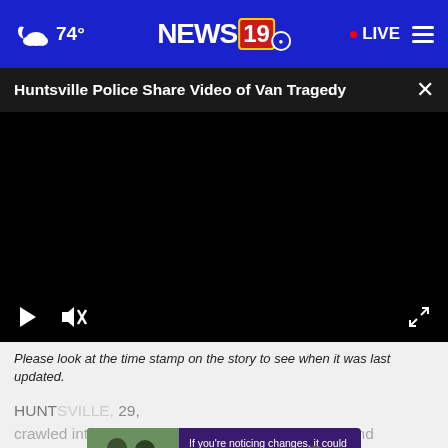74° NEWS19 • LIVE
Huntsville Police Share Video of Van Tragedy
[Figure (screenshot): Black video player with play button and mute/unmute controls at bottom left, fullscreen icon at bottom right]
Please look at the time stamp on the story to see when it was last updated.
HUNTSVILLE, 29, crawled into a Huntsville Police Department Van and
[Figure (photo): Advertisement overlay showing two people and text: If you're noticing changes, it could be Alzheimer's. Visit a doctor together.]